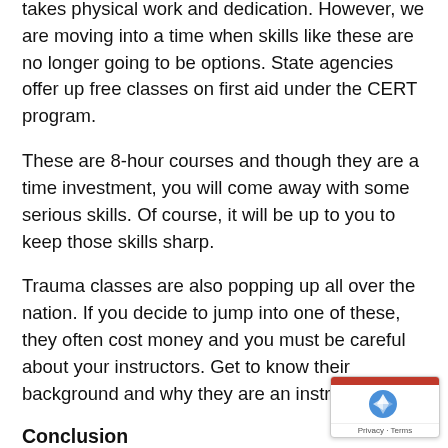most people don't go to this level because it takes physical work and dedication. However, we are moving into a time when skills like these are no longer going to be options. State agencies offer up free classes on first aid under the CERT program.
These are 8-hour courses and though they are a time investment, you will come away with some serious skills. Of course, it will be up to you to keep those skills sharp.
Trauma classes are also popping up all over the nation. If you decide to jump into one of these, they often cost money and you must be careful about your instructors. Get to know their background and why they are an instructor.
Conclusion